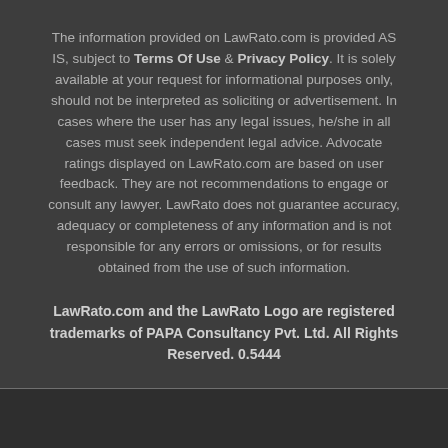The information provided on LawRato.com is provided AS IS, subject to Terms Of Use & Privacy Policy. It is solely available at your request for informational purposes only, should not be interpreted as soliciting or advertisement. In cases where the user has any legal issues, he/she in all cases must seek independent legal advice. Advocate ratings displayed on LawRato.com are based on user feedback. They are not recommendations to engage or consult any lawyer. LawRato does not guarantee accuracy, adequacy or completeness of any information and is not responsible for any errors or omissions, or for results obtained from the use of such information.
LawRato.com and the LawRato Logo are registered trademarks of PAPA Consultancy Pvt. Ltd. All Rights Reserved. 0.5444